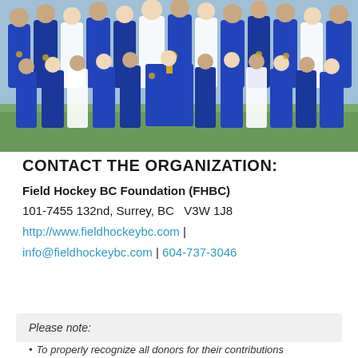[Figure (photo): Group photo of youth field hockey players in blue and white jerseys, many wearing medals, posing together on a field. A player in the center holds a trophy.]
CONTACT THE ORGANIZATION:
Field Hockey BC Foundation (FHBC)
101-7455 132nd, Surrey, BC   V3W 1J8
http://www.fieldhockeybc.com | info@fieldhockeybc.com | 604-737-3046
Please note:
To properly recognize all donors for their contributions